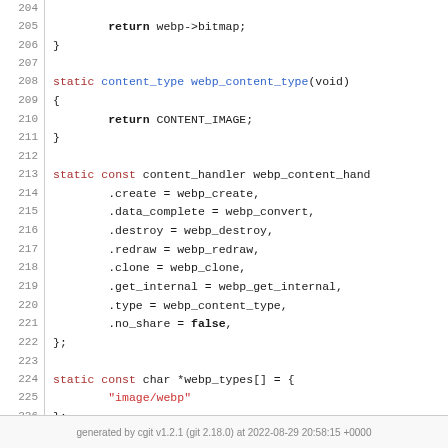Source code listing lines 204-229 of a C file implementing WebP content handler
generated by cgit v1.2.1 (git 2.18.0) at 2022-08-29 20:58:15 +0000